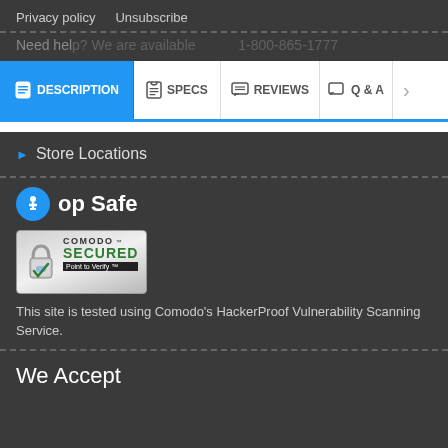Privacy policy   Unsubscribe
Need help? We are available 1-800-865-1777
[Figure (screenshot): Website navigation tab bar with tabs: DESCRIPTION (active, blue), SPECS, REVIEWS, Q & A, and a right arrow]
Store Locations
Shop Safe
[Figure (logo): Comodo Secured badge with padlock icon and text: COMODO SECURED Point to Verify TM]
This site is tested using Comodo's HackerProof Vulnerability Scanning Service.
We Accept